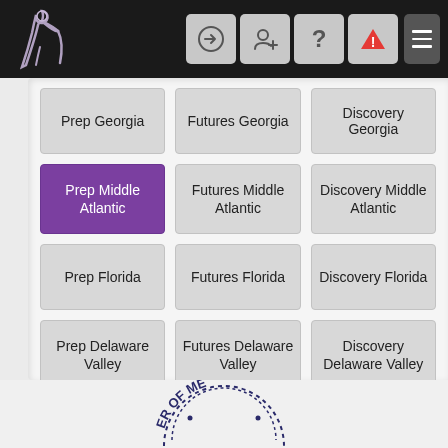Navigation bar with logo and icons
Prep Georgia
Futures Georgia
Discovery Georgia
Prep Middle Atlantic (active/selected)
Futures Middle Atlantic
Discovery Middle Atlantic
Prep Florida
Futures Florida
Discovery Florida
Prep Delaware Valley
Futures Delaware Valley
Discovery Delaware Valley
Prep Kentucky
Futures Kentucky
Discovery Kentucky
[Figure (logo): Partial circular badge/seal at bottom of page reading 'ER OF ME']